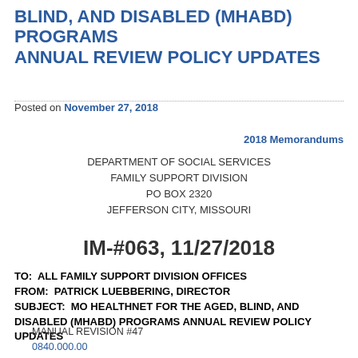BLIND, AND DISABLED (MHABD) PROGRAMS ANNUAL REVIEW POLICY UPDATES
Posted on November 27, 2018
2018 Memorandums
DEPARTMENT OF SOCIAL SERVICES
FAMILY SUPPORT DIVISION
PO BOX 2320
JEFFERSON CITY, MISSOURI
IM-#063, 11/27/2018
TO:  ALL FAMILY SUPPORT DIVISION OFFICES
FROM:  PATRICK LUEBBERING, DIRECTOR
SUBJECT:  MO HEALTHNET FOR THE AGED, BLIND, AND DISABLED (MHABD) PROGRAMS ANNUAL REVIEW POLICY UPDATES
MANUAL REVISION #47
0840.000.00
0840.005.00